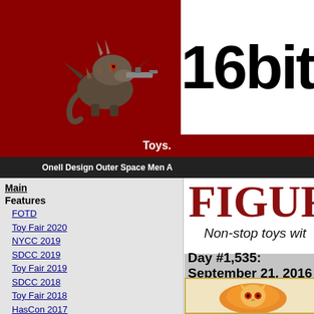16bit.com
FIGURE of the Day
Non-stop toys with
Day #1,535: September 21, 2016
[Figure (photo): Orange translucent toy figure with skull/rabbit head face and small body, mounted on dark base]
Alpha 7 Zekroy The Man from Ma... Outer Space Men Crossover with t... Item No.: No. n/a Manufacturer: O... Includes: Ray gu... bent arms, jetpack